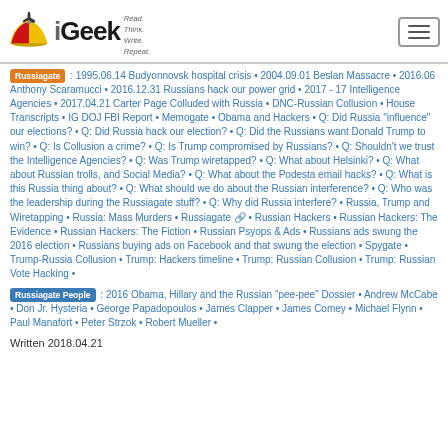iGeek — Read. Think. Write. Repeat.
Russiagate : 1995.06.14 Budyonnovsk hospital crisis • 2004.09.01 Beslan Massacre • 2016.06 Anthony Scaramucci • 2016.12.31 Russians hack our power grid • 2017 - 17 Intelligence Agencies • 2017.04.21 Carter Page Colluded with Russia • DNC-Russian Collusion • House Transcripts • IG DOJ FBI Report • Memogate • Obama and Hackers • Q: Did Russia "influence" our elections? • Q: Did Russia hack our election? • Q: Did the Russians want Donald Trump to win? • Q: Is Collusion a crime? • Q: Is Trump compromised by Russians? • Q: Shouldn't we trust the Intelligence Agencies? • Q: Was Trump wiretapped? • Q: What about Helsinki? • Q: What about Russian trolls, and Social Media? • Q: What about the Podesta email hacks? • Q: What is this Russia thing about? • Q: What should we do about the Russian interference? • Q: Who was the leadership during the Russiagate stuff? • Q: Why did Russia interfere? • Russia, Trump and Wiretapping • Russia: Mass Murders • Russiagate 🔗 • Russian Hackers • Russian Hackers: The Evidence • Russian Hackers: The Fiction • Russian Psyops & Ads • Russians ads swung the 2016 election • Russians buying ads on Facebook and that swung the election • Spygate • Trump-Russia Collusion • Trump: Hackers timeline • Trump: Russian Collusion • Trump: Russian Vote Hacking •
Russiagate People : 2016 Obama, Hillary and the Russian "pee-pee" Dossier • Andrew McCabe • Don Jr. Hysteria • George Papadopoulos • James Clapper • James Comey • Michael Flynn • Paul Manafort • Peter Strzok • Robert Mueller •
Written 2018.04.21